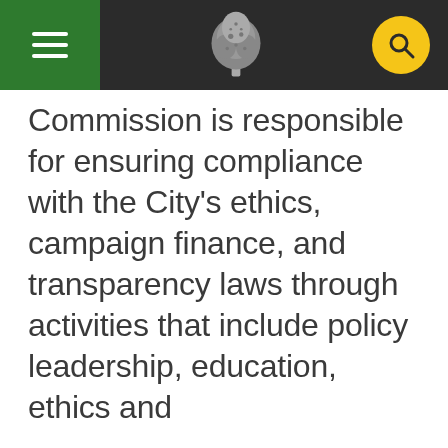[Navigation bar with hamburger menu, tree logo, and search button]
Commission is responsible for ensuring compliance with the City's ethics, campaign finance, and transparency laws through activities that include policy leadership, education, ethics and